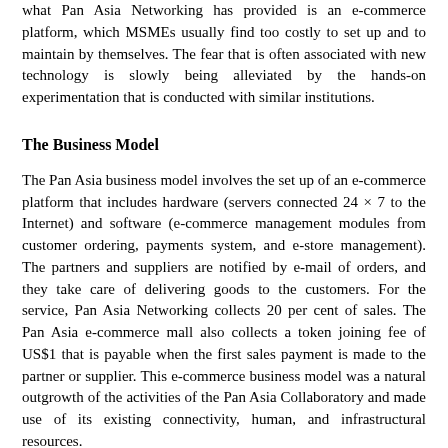what Pan Asia Networking has provided is an e-commerce platform, which MSMEs usually find too costly to set up and to maintain by themselves. The fear that is often associated with new technology is slowly being alleviated by the hands-on experimentation that is conducted with similar institutions.
The Business Model
The Pan Asia business model involves the set up of an e-commerce platform that includes hardware (servers connected 24 × 7 to the Internet) and software (e-commerce management modules from customer ordering, payments system, and e-store management). The partners and suppliers are notified by e-mail of orders, and they take care of delivering goods to the customers. For the service, Pan Asia Networking collects 20 per cent of sales. The Pan Asia e-commerce mall also collects a token joining fee of US$1 that is payable when the first sales payment is made to the partner or supplier. This e-commerce business model was a natural outgrowth of the activities of the Pan Asia Collaboratory and made use of its existing connectivity, human, and infrastructural resources.
The model is very similar to other e-retailers such as Amazon, except that the Pan Asia Networking mall does not warehouse products for sale. It merely accepts orders and payments from